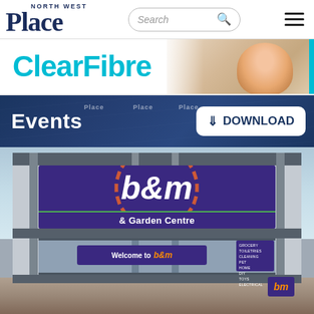[Figure (screenshot): North West Place website header with logo, search bar, and hamburger menu]
[Figure (screenshot): ClearFibre advertisement banner with teal text and person in background]
[Figure (screenshot): Events banner with dark blue background and Download button on a North West Place website]
[Figure (photo): B&M & Garden Centre store front with purple and orange sunburst logo signage, glass facade showing Welcome to b&m sign]